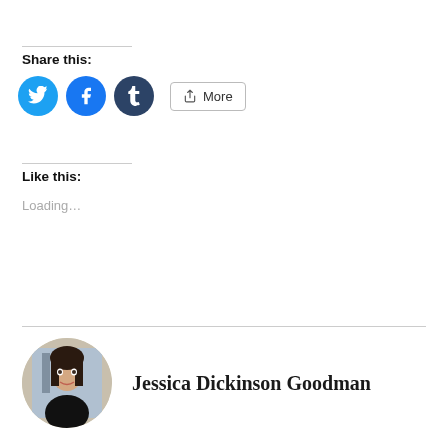Share this:
[Figure (other): Social share buttons: Twitter (blue bird icon), Facebook (blue f icon), Tumblr (dark blue t icon), and a More button with share icon]
Like this:
Loading...
[Figure (photo): Circular profile photo of a woman with dark hair wearing a black top, standing in front of a building]
Jessica Dickinson Goodman